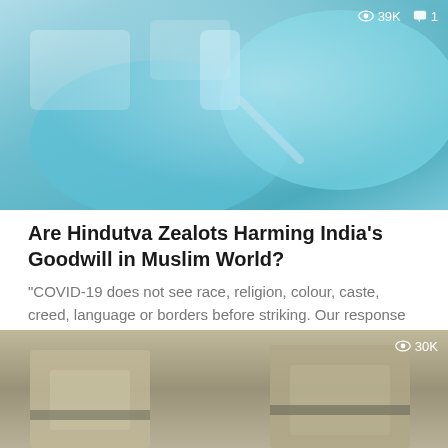[Figure (photo): Close-up photo of gloved hands holding a vaccine vial and syringe against a teal/blue background. Overlay shows 39K views and 1 comment.]
Are Hindutva Zealots Harming India’s Goodwill in Muslim World?
“COVID-19 does not see race, religion, colour, caste, creed, language or borders before striking. Our response and conduct thereafter should attach primacy…
[Figure (photo): Photo of two people (appearing to be police officers or security personnel) from the torso down, wearing khaki/beige uniforms. Overlay shows 30K views.]